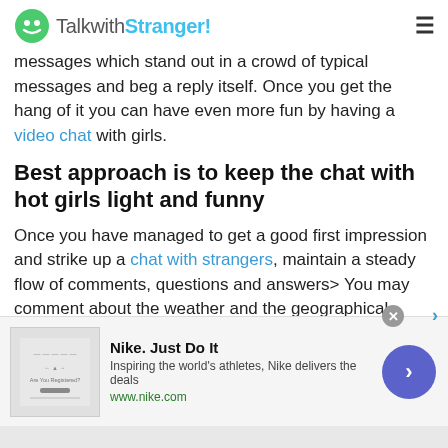TalkwithStranger!
messages which stand out in a crowd of typical messages and beg a reply itself. Once you get the hang of it you can have even more fun by having a video chat with girls.
Best approach is to keep the chat with hot girls light and funny
Once you have managed to get a good first impression and strike up a chat with strangers, maintain a steady flow of comments, questions and answers> You may comment about the weather and the geographical location you are chatting from. Keeping a little bit of humor in your conversation always helps and if you make the other
[Figure (screenshot): Nike advertisement banner: 'Nike. Just Do It' with tagline 'Inspiring the world's athletes, Nike delivers the deals' and URL www.nike.com, with close button and navigation arrow]